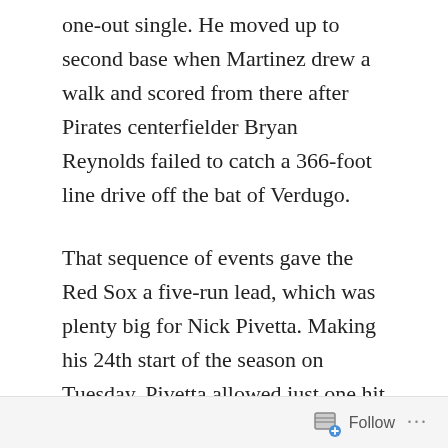one-out single. He moved up to second base when Martinez drew a walk and scored from there after Pirates centerfielder Bryan Reynolds failed to catch a 366-foot line drive off the bat of Verdugo.
That sequence of events gave the Red Sox a five-run lead, which was plenty big for Nick Pivetta. Making his 24th start of the season on Tuesday, Pivetta allowed just one hit and three walks to go along with six strikeouts over seven scoreless innings of work.
The one hit Pivetta surrendered came with two